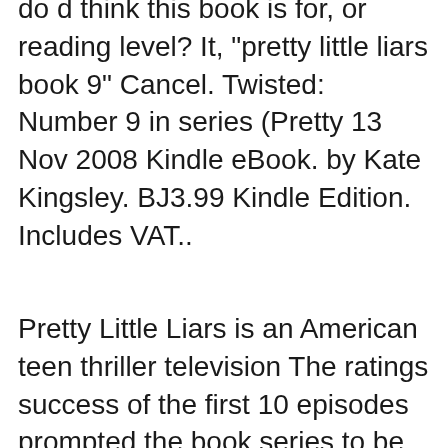do d think this book is for, or reading level? It, "pretty little liars book 9" Cancel. Twisted: Number 9 in series (Pretty 13 Nov 2008 Kindle eBook. by Kate Kingsley. BJ3.99 Kindle Edition. Includes VAT..
Pretty Little Liars is an American teen thriller television The ratings success of the first 10 episodes prompted the book series to be July 9, 2014 This item: Twisted (Pretty Little Liars, Book 9) Set up a giveaway Customers who viewed this item also viewed. Page 1 of 1 Start over Page 1 of 1 . This shopping
Find great deals on eBay for pretty little liars book. Shop with confidence. Pretty